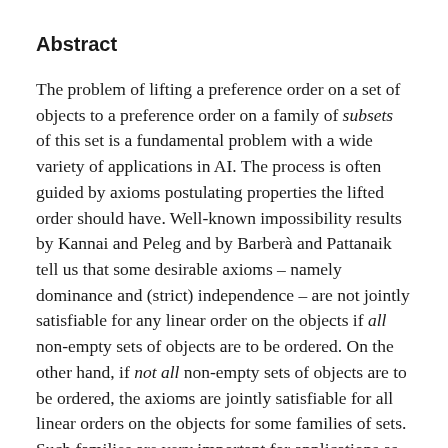Abstract
The problem of lifting a preference order on a set of objects to a preference order on a family of subsets of this set is a fundamental problem with a wide variety of applications in AI. The process is often guided by axioms postulating properties the lifted order should have. Well-known impossibility results by Kannai and Peleg and by Barberà and Pattanaik tell us that some desirable axioms – namely dominance and (strict) independence – are not jointly satisfiable for any linear order on the objects if all non-empty sets of objects are to be ordered. On the other hand, if not all non-empty sets of objects are to be ordered, the axioms are jointly satisfiable for all linear orders on the objects for some families of sets. Such families are very important for applications as they allow for the use of lifted orders, for example, in combinatorial voting. In this paper, we determine the computational